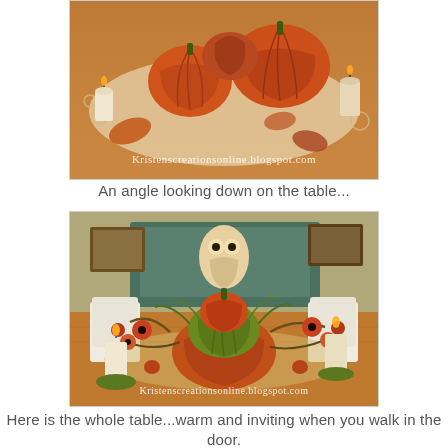[Figure (photo): Close-up photo looking down at a fall/autumn table centerpiece with pumpkins, greenery, and candles on a lace runner. Watermark: Kristenscreationsonline.blogspot.com]
An angle looking down on the table...
[Figure (photo): Wide photo of a dining table with a full fall centerpiece featuring stacked pumpkins, flowers, greenery, and candles. Owl decorations visible on cabinet behind. Watermark: Kristenscreationsonline.blogspot.com]
Here is the whole table...warm and inviting when you walk in the door.